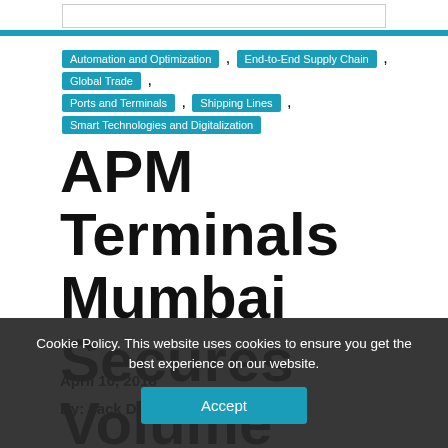Automation and Optimization , End-to-End Supply Chain , Global Trade , Ports and Terminals , Shipping Lines , Smart Technologies and Digitalization
APM Terminals Mumbai Secures Volume Record
April 10, 2018
By: Jack Donnelly
Cookie Policy. This website uses cookies to ensure you get the best experience on our website.